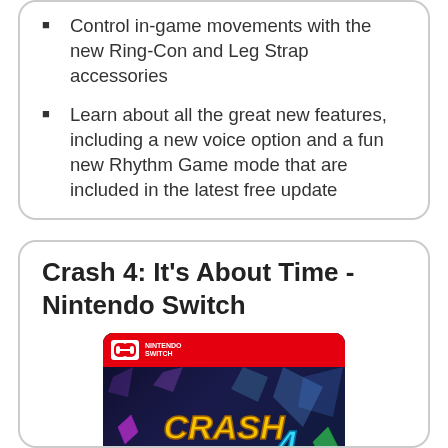Control in-game movements with the new Ring-Con and Leg Strap accessories
Learn about all the great new features, including a new voice option and a fun new Rhythm Game mode that are included in the latest free update
Crash 4: It's About Time - Nintendo Switch
[Figure (photo): Nintendo Switch game box art for Crash Bandicoot 4: It's About Time, featuring the Nintendo Switch logo header in red, the title 'CRASH BANDICOOT 4 IT'S ABOUT TIME' in yellow stylized text with a '4' in blue, set against a dark blue background with colorful crystal/gem decorations.]